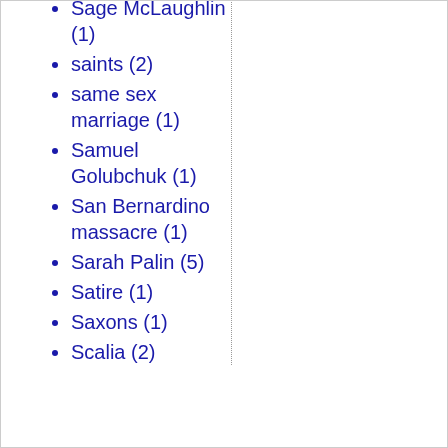Sage McLaughlin (1)
saints (2)
same sex marriage (1)
Samuel Golubchuk (1)
San Bernardino massacre (1)
Sarah Palin (5)
Satire (1)
Saxons (1)
Scalia (2)